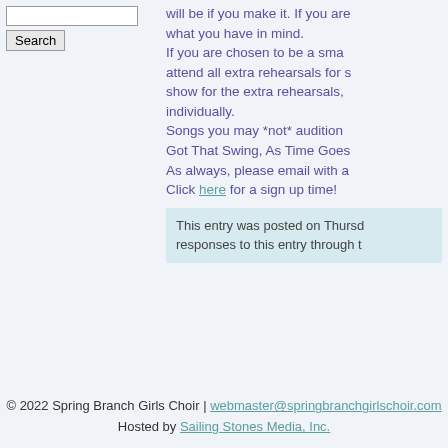Search
will be if you make it. If you are what you have in mind. If you are chosen to be a small attend all extra rehearsals for s show for the extra rehearsals, individually. Songs you may *not* audition Got That Swing, As Time Goes As always, please email with a Click here for a sign up time!
This entry was posted on Thursd responses to this entry through t
© 2022 Spring Branch Girls Choir | webmaster@springbranchgirlschoir.com Hosted by Sailing Stones Media, Inc.